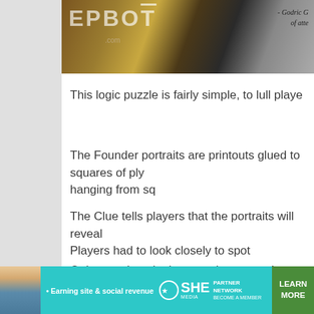[Figure (photo): Top banner with EPBOT logo/branding on decorative brown background with gears, and a partial quote attributing to Godric with text 'of atte']
This logic puzzle is fairly simple, to lull playe
The Founder portraits are printouts glued to squares of ply hanging from sq
The Clue tells players that the portraits will reveal Players had to look closely to spot
Only one chest in the room has a number lock,
[Figure (photo): Close-up photo of an ornate dark leather chest/trunk with brown leather straps, brass hardware, and fleur-de-lis embossed pattern, on a yellow-tan background]
[Figure (advertisement): SHE Media Partner Network advertisement banner in teal/cyan color with woman photo, bullet point 'Earning site & social revenue', SHE logo, and 'LEARN MORE' green button]